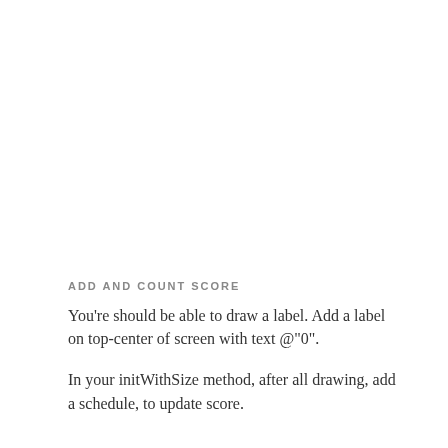ADD AND COUNT SCORE
You're should be able to draw a label. Add a label on top-center of screen with text @"0".
In your initWithSize method, after all drawing, add a schedule, to update score.